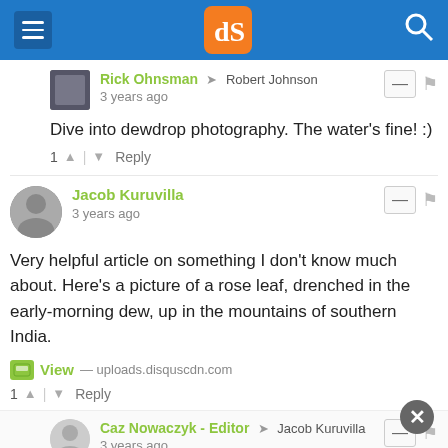dPS navigation header
Rick Ohnsman → Robert Johnson
3 years ago
Dive into dewdrop photography. The water's fine! :)
Jacob Kuruvilla
3 years ago
Very helpful article on something I don't know much about. Here's a picture of a rose leaf, drenched in the early-morning dew, up in the mountains of southern India.
View — uploads.disquscdn.com
Caz Nowaczyk - Editor → Jacob Kuruvilla
3 years ago
Great shot, Jacob!